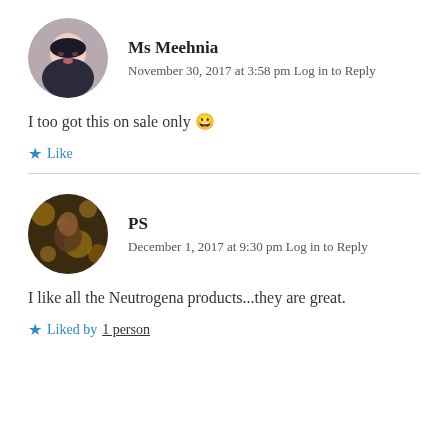[Figure (photo): Circular avatar photo of Ms Meehnia, a woman with dark hair and makeup]
Ms Meehnia
November 30, 2017 at 3:58 pm Log in to Reply
I too got this on sale only 😀
★ Like
[Figure (photo): Circular avatar photo of PS, a person with golden bokeh background]
PS
December 1, 2017 at 9:30 pm Log in to Reply
I like all the Neutrogena products...they are great.
★ Liked by 1 person